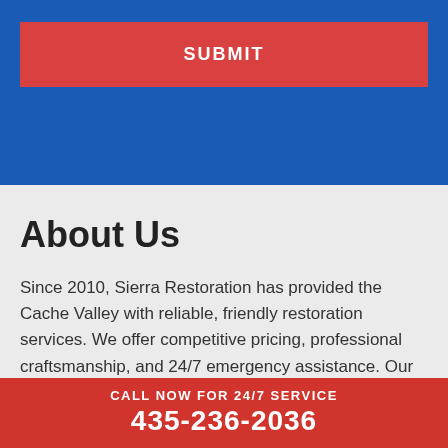[Figure (other): Blue background section with a red Submit button]
About Us
Since 2010, Sierra Restoration has provided the Cache Valley with reliable, friendly restoration services. We offer competitive pricing, professional craftsmanship, and 24/7 emergency assistance. Our
CALL NOW FOR 24/7 SERVICE
435-236-2036